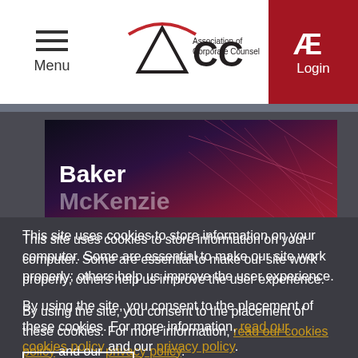Menu | Association of Corporate Counsel (ACC) | Login
[Figure (screenshot): Baker McKenzie banner image with red/purple geometric background]
This site uses cookies to store information on your computer. Some are essential to make our site work properly; others help us improve the user experience.
By using the site, you consent to the placement of these cookies. For more information, read our cookies policy and our privacy policy.
Accept